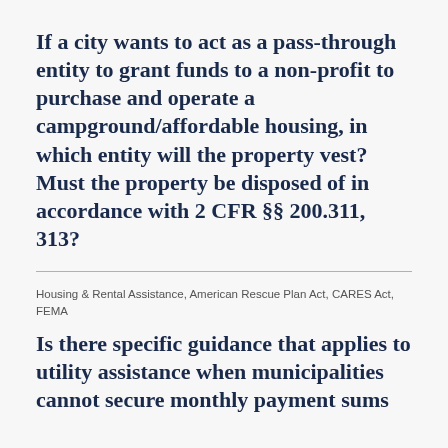If a city wants to act as a pass-through entity to grant funds to a non-profit to purchase and operate a campground/affordable housing, in which entity will the property vest? Must the property be disposed of in accordance with 2 CFR §§ 200.311, 313?
Housing & Rental Assistance, American Rescue Plan Act, CARES Act, FEMA
Is there specific guidance that applies to utility assistance when municipalities cannot secure monthly payment sums